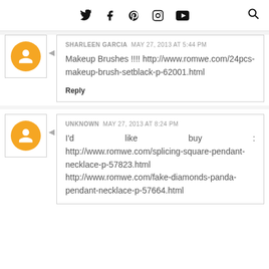Twitter Facebook Pinterest Instagram YouTube [Search]
SHARLEEN GARCIA  MAY 27, 2013 AT 5:44 PM
Makeup Brushes !!!! http://www.romwe.com/24pcs-makeup-brush-setblack-p-62001.html
Reply
UNKNOWN  MAY 27, 2013 AT 8:24 PM
I'd like buy : http://www.romwe.com/splicing-square-pendant-necklace-p-57823.html http://www.romwe.com/fake-diamonds-panda-pendant-necklace-p-57664.html